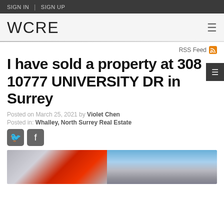SIGN IN  |  SIGN UP
WCRE
RSS Feed
I have sold a property at 308 10777 UNIVERSITY DR in Surrey
Posted on March 25, 2021 by Violet Chen
Posted in: Whalley, North Surrey Real Estate
[Figure (photo): Social media share icons for Twitter and Facebook]
[Figure (photo): Two photos of a residential apartment building]